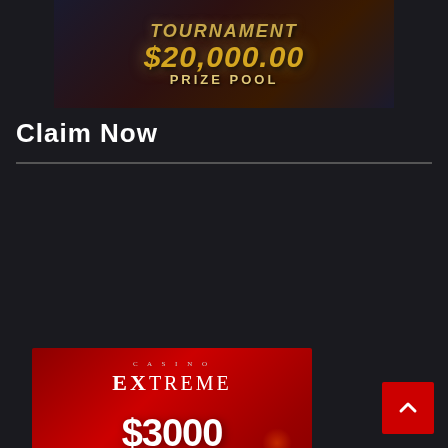[Figure (illustration): Tournament promotional banner with '$20,000.00 PRIZE POOL' text in gold on dark background with a dramatic character figure]
Claim Now
[Figure (illustration): Casino Extreme $3000 Welcome Bonus promotional banner on red background with slot machine, roulette table, and people playing]